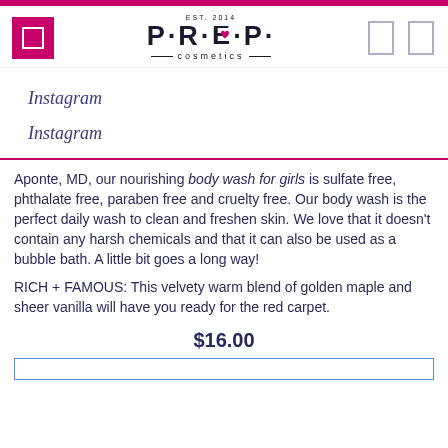PREP cosmetics — EST. 2014
Instagram
Instagram
Aponte, MD, our nourishing body wash for girls is sulfate free, phthalate free, paraben free and cruelty free. Our body wash is the perfect daily wash to clean and freshen skin. We love that it doesn't contain any harsh chemicals and that it can also be used as a bubble bath. A little bit goes a long way!
RICH + FAMOUS: This velvety warm blend of golden maple and sheer vanilla will have you ready for the red carpet.
$16.00